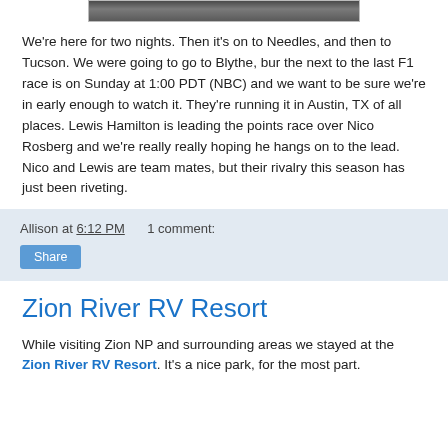[Figure (photo): Partial photo strip at the top of the page, showing a dark landscape or outdoor scene]
We're here for two nights.  Then it's on to Needles, and then to Tucson.  We were going to go to Blythe, bur the next to the last F1 race is on Sunday at 1:00 PDT (NBC) and we want to be sure we're in early enough to watch it.  They're running it in Austin, TX of all places.  Lewis Hamilton is leading the points race over Nico Rosberg and we're really really hoping he hangs on to the lead.  Nico and Lewis are team mates, but their rivalry this season has just been riveting.
Allison at 6:12 PM    1 comment:
Share
Zion River RV Resort
While visiting Zion NP and surrounding areas we stayed at the Zion River RV Resort.  It's a nice park, for the most part.